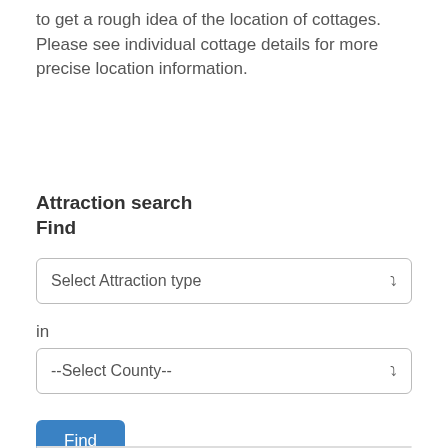to get a rough idea of the location of cottages. Please see individual cottage details for more precise location information.
Attraction search
Find
[Figure (screenshot): Dropdown select box with placeholder 'Select Attraction type' and a chevron arrow on the right]
in
[Figure (screenshot): Dropdown select box with placeholder '--Select County--' and a chevron arrow on the right]
[Figure (screenshot): Blue 'Find' button]
Northamptonshire
Attractions
All attractions
[Figure (screenshot): White box with upward caret and 'TOP' text in the bottom right corner]